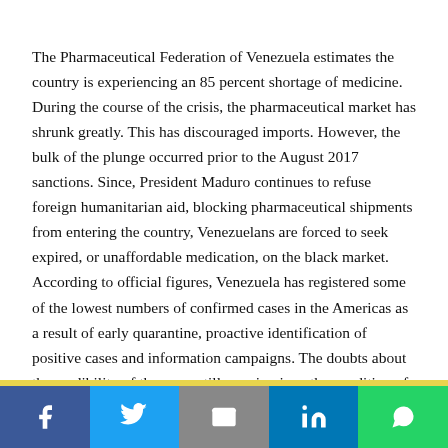The Pharmaceutical Federation of Venezuela estimates the country is experiencing an 85 percent shortage of medicine. During the course of the crisis, the pharmaceutical market has shrunk greatly. This has discouraged imports. However, the bulk of the plunge occurred prior to the August 2017 sanctions. Since, President Maduro continues to refuse foreign humanitarian aid, blocking pharmaceutical shipments from entering the country, Venezuelans are forced to seek expired, or unaffordable medication, on the black market. According to official figures, Venezuela has registered some of the lowest numbers of confirmed cases in the Americas as a result of early quarantine, proactive identification of positive cases and information campaigns. The doubts about the credibility of the same still remain given the condition of the healthcare system.
[Figure (infographic): Social sharing bar with icons for Facebook, Twitter, Email, LinkedIn, and WhatsApp on colored backgrounds with a yellow dividing line above.]